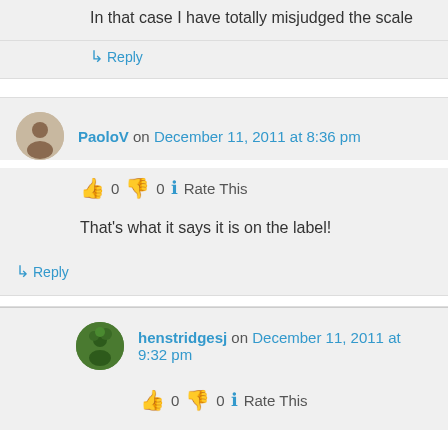In that case I have totally misjudged the scale
↳ Reply
PaoloV on December 11, 2011 at 8:36 pm
👍 0 👎 0 ℹ Rate This
That's what it says it is on the label!
↳ Reply
henstridgesj on December 11, 2011 at 9:32 pm
👍 0 👎 0 ℹ Rate This